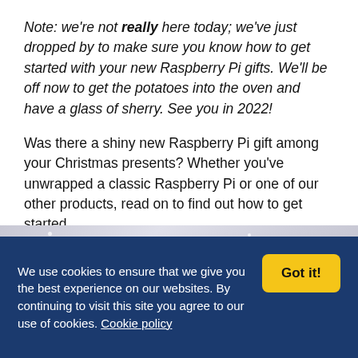Note: we're not really here today; we've just dropped by to make sure you know how to get started with your new Raspberry Pi gifts. We'll be off now to get the potatoes into the oven and have a glass of sherry. See you in 2022!
Was there a shiny new Raspberry Pi gift among your Christmas presents? Whether you've unwrapped a classic Raspberry Pi or one of our other products, read on to find out how to get started.
[Figure (photo): Partial view of a winter/Christmas themed banner image, light grey-blue tones with sparkle/star effects]
We use cookies to ensure that we give you the best experience on our websites. By continuing to visit this site you agree to our use of cookies. Cookie policy